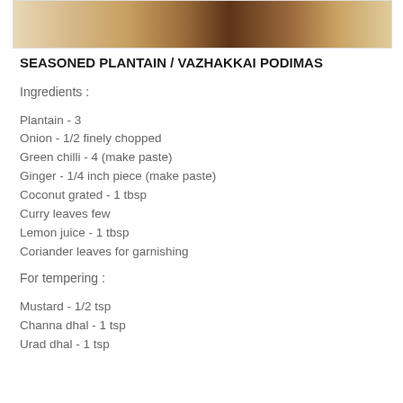[Figure (photo): Close-up photo of a wooden surface or food item with warm brown tones]
SEASONED PLANTAIN / VAZHAKKAI PODIMAS
Ingredients :
Plantain - 3
Onion - 1/2 finely chopped
Green chilli - 4 (make paste)
Ginger - 1/4 inch piece (make paste)
Coconut grated - 1 tbsp
Curry leaves few
Lemon juice - 1 tbsp
Coriander leaves for garnishing
For tempering :
Mustard - 1/2 tsp
Channa dhal - 1 tsp
Urad dhal - 1 tsp